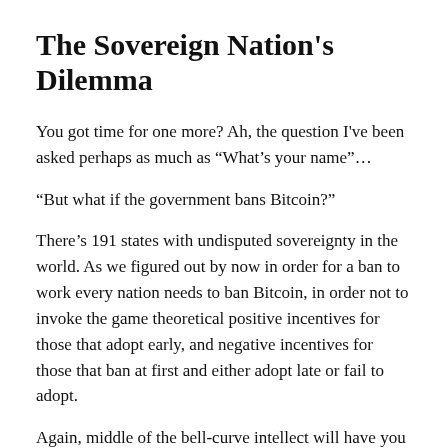The Sovereign Nation's Dilemma
You got time for one more? Ah, the question I've been asked perhaps as much as “What’s your name”…
“But what if the government bans Bitcoin?”
There’s 191 states with undisputed sovereignty in the world. As we figured out by now in order for a ban to work every nation needs to ban Bitcoin, in order not to invoke the game theoretical positive incentives for those that adopt early, and negative incentives for those that ban at first and either adopt late or fail to adopt.
Again, middle of the bell-curve intellect will have you think that it is naive to believe the government won’t ban Bitcoin. But believing in global coordination is the